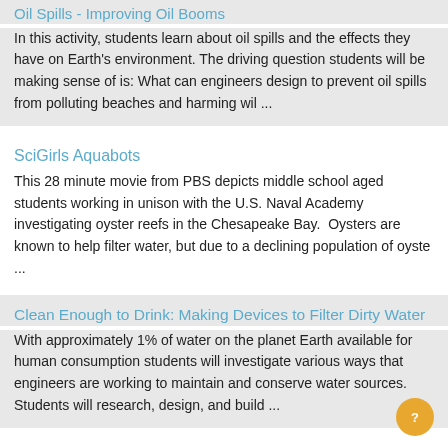Oil Spills - Improving Oil Booms
In this activity, students learn about oil spills and the effects they have on Earth's environment. The driving question students will be making sense of is: What can engineers design to prevent oil spills from polluting beaches and harming wil ...
SciGirls Aquabots
This 28 minute movie from PBS depicts middle school aged students working in unison with the U.S. Naval Academy investigating oyster reefs in the Chesapeake Bay.  Oysters are known to help filter water, but due to a declining population of oyste ...
Clean Enough to Drink: Making Devices to Filter Dirty Water
With approximately 1% of water on the planet Earth available for human consumption students will investigate various ways that engineers are working to maintain and conserve water sources. Students will research, design, and build ...
Think It, Design It, Build It....Water Filtration Activity
This unit activity combines learning about ways individual communities use science ideas to protect the Earth's resources and environment along with the engineering design